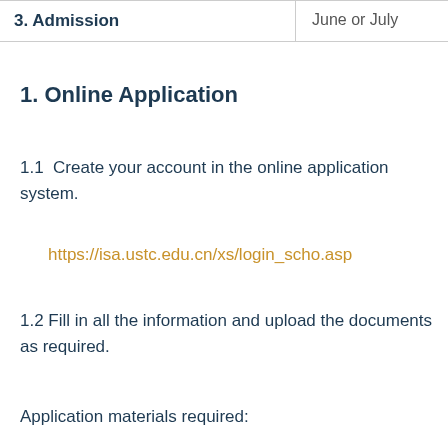|  |  |
| --- | --- |
| 3. Admission | June or July |
1. Online Application
1.1  Create your account in the online application system.
https://isa.ustc.edu.cn/xs/login_scho.asp
1.2 Fill in all the information and upload the documents as required.
Application materials required: